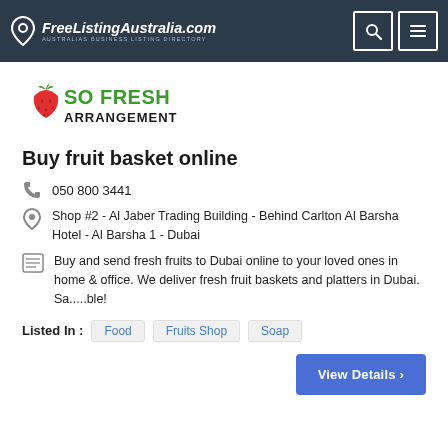FreeListingAustralia.com — AUSTRALIAS BUSINESS LISTING DIRECTORY
[Figure (logo): So Fresh Arrangements logo with strawberry icon, 'SO FRESH' in green and 'ARRANGEMENTS' in black]
Buy fruit basket online
050 800 3441
Shop #2 - Al Jaber Trading Building - Behind Carlton Al Barsha Hotel - Al Barsha 1 - Dubai
Buy and send fresh fruits to Dubai online to your loved ones in home & office. We deliver fresh fruit baskets and platters in Dubai. Sa.....ble!
Listed In : Food  Fruits Shop  Soap
View Details >